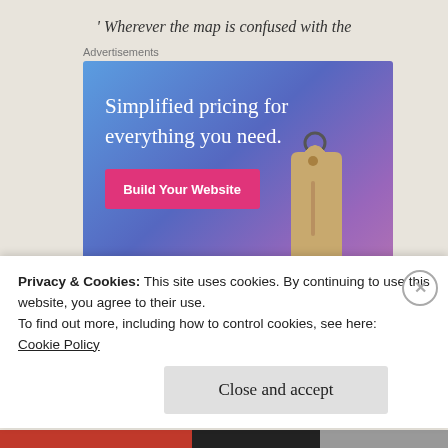' Wherever the map is confused with the
Advertisements
[Figure (illustration): WordPress.com advertisement banner with gradient blue-purple background, text 'Simplified pricing for everything you need.', a pink 'Build Your Website' button, a tan price tag illustration, and WordPress.com logo at bottom.]
Privacy & Cookies: This site uses cookies. By continuing to use this website, you agree to their use.
To find out more, including how to control cookies, see here:
Cookie Policy
Close and accept